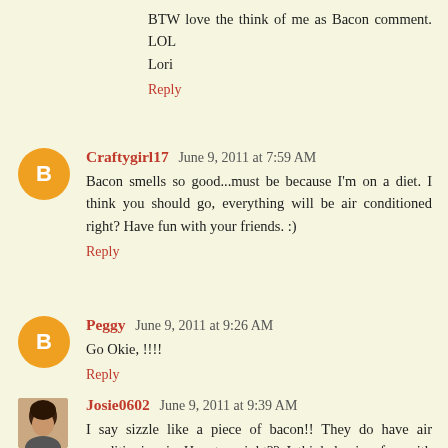BTW love the think of me as Bacon comment. LOL
Lori
Reply
Craftygirl17  June 9, 2011 at 7:59 AM
Bacon smells so good...must be because I'm on a diet. I think you should go, everything will be air conditioned right? Have fun with your friends. :)
Reply
Peggy  June 9, 2011 at 9:26 AM
Go Okie, !!!!
Reply
Josie0602  June 9, 2011 at 9:39 AM
I say sizzle like a piece of bacon!! They do have air conditioning in Houston right?? I think having fun with your